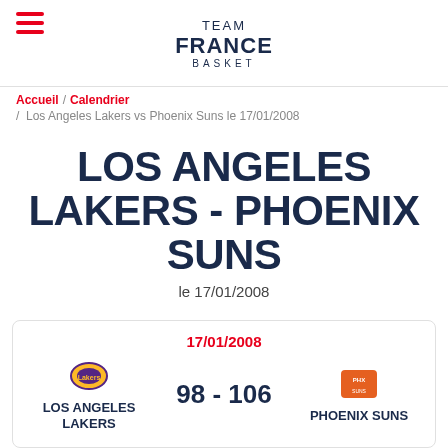TEAM FRANCE BASKET
Accueil / Calendrier / Los Angeles Lakers vs Phoenix Suns le 17/01/2008
LOS ANGELES LAKERS - PHOENIX SUNS le 17/01/2008
| Home Team | Score | Away Team |
| --- | --- | --- |
| LOS ANGELES LAKERS | 98 - 106 | PHOENIX SUNS |